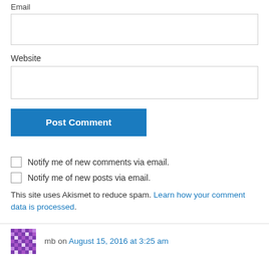Email
Website
Post Comment
Notify me of new comments via email.
Notify me of new posts via email.
This site uses Akismet to reduce spam. Learn how your comment data is processed.
mb on August 15, 2016 at 3:25 am